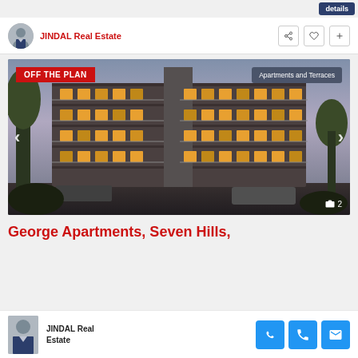details
JINDAL Real Estate
[Figure (photo): Exterior rendering of George Apartments, a modern multi-storey residential building with balconies, at dusk. Badge reading OFF THE PLAN top-left, Apartments and Terraces badge top-right, photo count indicator showing camera icon and 2 at bottom-right. Navigation arrows on left and right sides.]
George Apartments, Seven Hills,
JINDAL Real Estate